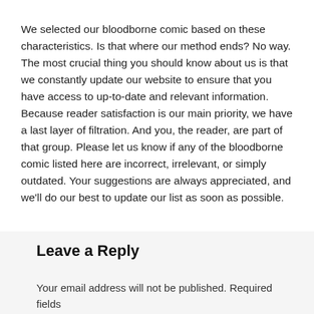We selected our bloodborne comic based on these characteristics. Is that where our method ends? No way. The most crucial thing you should know about us is that we constantly update our website to ensure that you have access to up-to-date and relevant information. Because reader satisfaction is our main priority, we have a last layer of filtration. And you, the reader, are part of that group. Please let us know if any of the bloodborne comic listed here are incorrect, irrelevant, or simply outdated. Your suggestions are always appreciated, and we'll do our best to update our list as soon as possible.
Leave a Reply
Your email address will not be published. Required fields